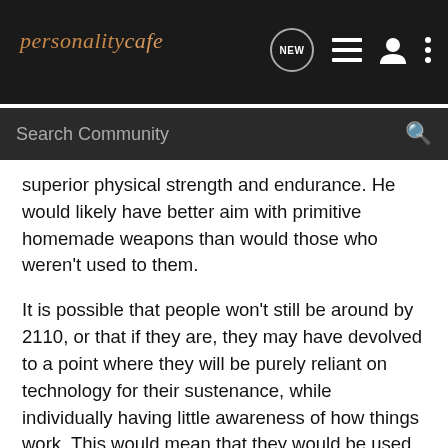personalitycafe
superior physical strength and endurance. He would likely have better aim with primitive homemade weapons than would those who weren't used to them.
It is possible that people won't still be around by 2110, or that if they are, they may have devolved to a point where they will be purely reliant on technology for their sustenance, while individually having little awareness of how things work. This would mean that they would be used to certain luxuries, and would have no idea how to make or repair their own tools without depending on other tools that they, likewise, wouldn't be able to make from scratch. I'm assuming the person from the future would be an average person rather than a trained soldier or a specialized scientist, and would have no access to any sophisticated equipment.